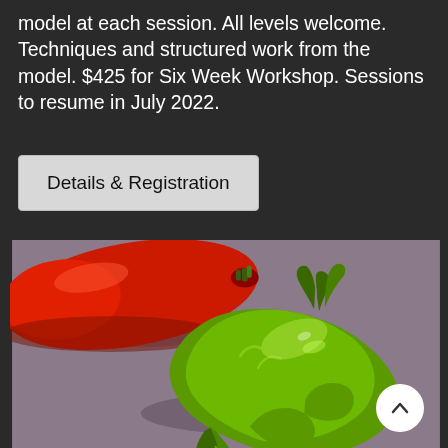model at each session. All levels welcome. Techniques and structured work from the model. $425 for Six Week Workshop. Sessions to resume in July 2022.
Details & Registration
[Figure (photo): A realistic oil painting of two peppers on a grey-purple background. A red pepper is partially visible in the upper left, and a large green pepper dominates the center and lower portion of the image.]